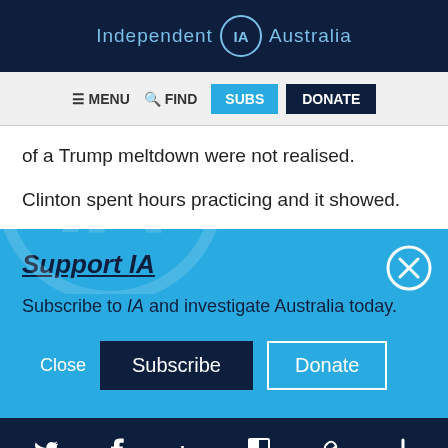Independent IA Australia
MENU  FIND  SUBS  DONATE
of a Trump meltdown were not realised.
Clinton spent hours practicing and it showed.
Support IA
Subscribe to IA and investigate Australia today.
Close  Subscribe  Donate
Twitter  Facebook  LinkedIn  Flipboard  Link  Plus